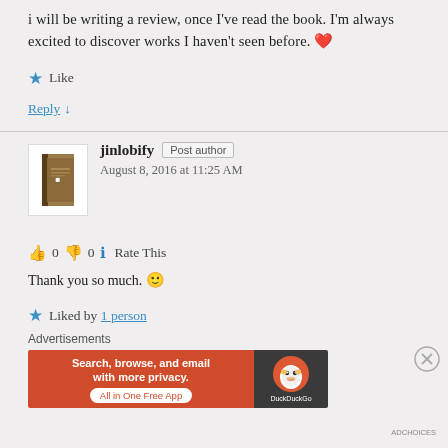i will be writing a review, once I've read the book. I'm always excited to discover works I haven't seen before. ❤
★ Like
Reply ↓
jinlobify  Post author
August 8, 2016 at 11:25 AM
👍 0 👎 0 ℹ Rate This
Thank you so much. 🙂
★ Liked by 1 person
Advertisements
[Figure (other): DuckDuckGo advertisement banner: orange section with text 'Search, browse, and email with more privacy. All in One Free App' and dark section with DuckDuckGo duck logo]